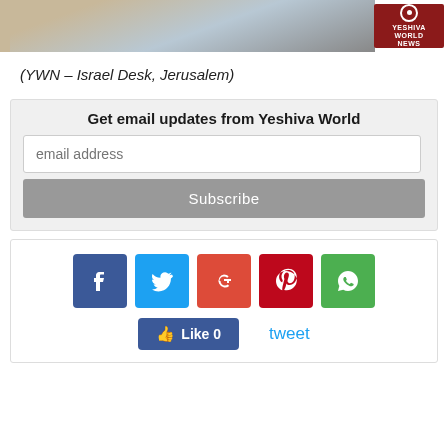[Figure (photo): Top portion of a news photo showing a car and stone wall, with Yeshiva World News logo badge in the lower right corner]
(YWN – Israel Desk, Jerusalem)
Get email updates from Yeshiva World
[Figure (screenshot): Email subscription box with input field placeholder 'email address' and a Subscribe button]
[Figure (infographic): Social sharing buttons: Facebook, Twitter, Google+, Pinterest, WhatsApp icons, and a Like 0 button and tweet link below]